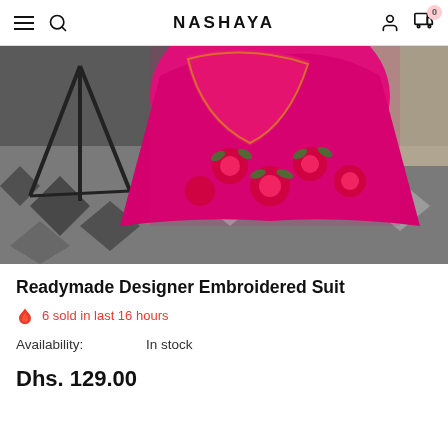NASHAYA
[Figure (photo): A pink/magenta embroidered designer suit displayed hanging, with red floral embroidery on a geometric patterned floor rug background]
Readymade Designer Embroidered Suit
6 sold in last 16 hours
Availability: In stock
Dhs. 129.00